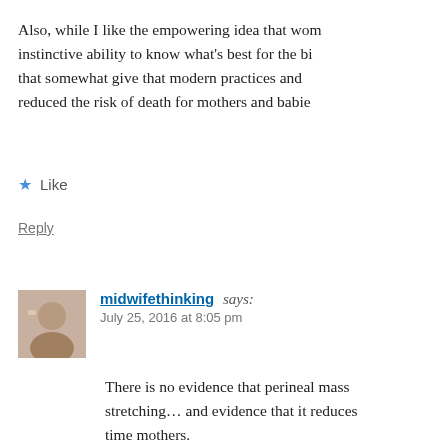Also, while I like the empowering idea that wo… instinctive ability to know what's best for the bi… that somewhat give that modern practices and … reduced the risk of death for mothers and babie…
Like
Reply
[Figure (photo): Avatar photo of commenter midwifethinking — small portrait image]
midwifethinking says: July 25, 2016 at 8:05 pm
There is no evidence that perineal mass… stretching… and evidence that it reduces… time mothers. Medicine has reduced the risk of death f… provides interventions for when physiol… the vast majority of mothers birth is (co… We are lucky enough in many parts of th…